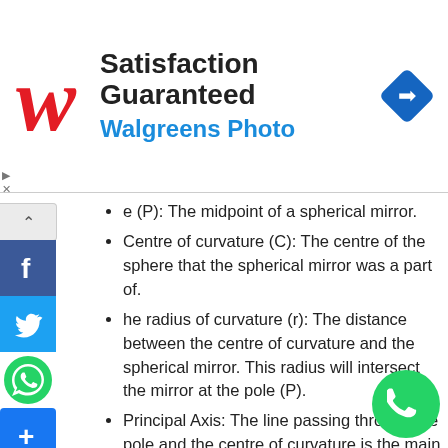[Figure (logo): Walgreens satisfaction guaranteed advertisement banner with Walgreens cursive W logo, text 'Satisfaction Guaranteed' and 'Walgreens Photo', and a blue diamond navigation icon]
e (P): The midpoint of a spherical mirror.
Centre of curvature (C): The centre of the sphere that the spherical mirror was a part of.
The radius of curvature (r): The distance between the centre of curvature and the spherical mirror. This radius will intersect the mirror at the pole (P).
Principal Axis: The line passing through the pole and the centre of curvature is the main or principal axis.
Concave Mirror: A spherical mirror with the reflecting surface that bulges inwards.
Convex Mirror: A spherical mirror with the reflecting surface that bulges outwards.